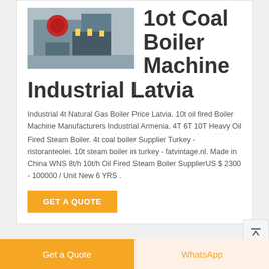[Figure (photo): Industrial coal boiler machine photo]
1ot Coal Boiler Machine Industrial Latvia
Industrial 4t Natural Gas Boiler Price Latvia. 10t oil fired Boiler Machine Manufacturers Industrial Armenia. 4T 6T 10T Heavy Oil Fired Steam Boiler. 4t coal boiler Supplier Turkey - ristoranteolei. 10t steam boiler in turkey - fatvintage.nl. Made in China WNS 8t/h 10t/h Oil Fired Steam Boiler SupplierUS $ 2300 - 100000 / Unit New 6 YRS .
[Figure (photo): 6t gas fired boiler photo collage]
6t gas fired